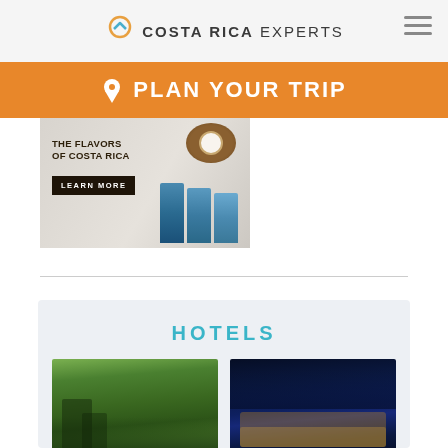COSTA RICA EXPERTS
PLAN YOUR TRIP
[Figure (photo): Advertisement for The Flavors of Costa Rica with coffee/food products and a Learn More button]
HOTELS
[Figure (photo): Hotel image 1: jungle rainforest treehouse lodge]
[Figure (photo): Hotel image 2: night view of resort with illuminated bungalow and mountains]